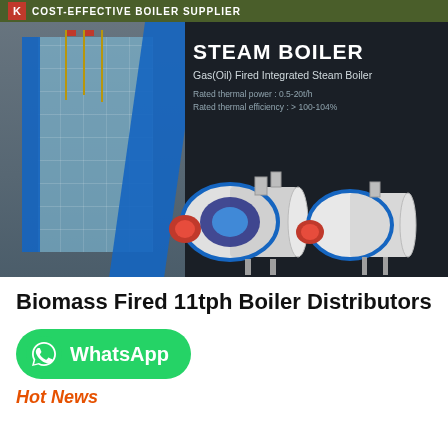COST-EFFECTIVE BOILER SUPPLIER
[Figure (photo): Steam boiler product banner showing industrial boilers on dark background with building facade on left. Text: STEAM BOILER, Gas(Oil) Fired Integrated Steam Boiler, Rated thermal power: 0.5-20t/h, Rated thermal efficiency: > 100-104%]
Biomass Fired 11tph Boiler Distributors
[Figure (logo): WhatsApp button - green rounded rectangle with WhatsApp icon and text 'WhatsApp']
Hot News